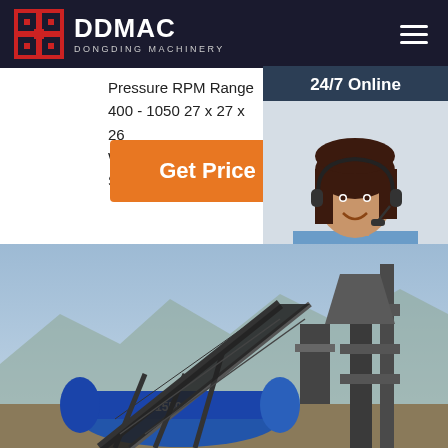DDMAC DONGDING MACHINERY
Pressure RPM Range 400 - 1050 27 x 27 x 26 Weight: 300 Includes Start Up Kit (2 air filter
Get Price
[Figure (photo): Customer service representative wearing headset, smiling, with 24/7 Online label and Click here for free chat! text and QUOTATION button]
[Figure (photo): Industrial machinery with conveyor belt and large cylindrical equipment against a blue sky background]